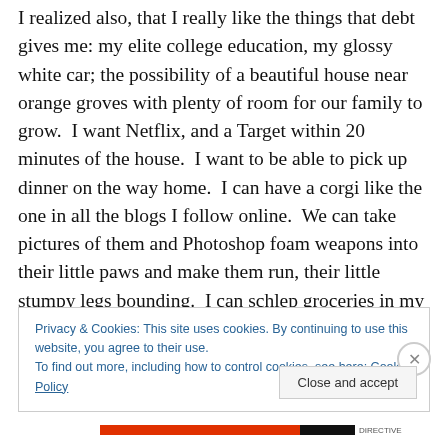I realized also, that I really like the things that debt gives me: my elite college education, my glossy white car; the possibility of a beautiful house near orange groves with plenty of room for our family to grow.  I want Netflix, and a Target within 20 minutes of the house.  I want to be able to pick up dinner on the way home.  I can have a corgi like the one in all the blogs I follow online.  We can take pictures of them and Photoshop foam weapons into their little paws and make them run, their little stumpy legs bounding.  I can schlep groceries in my little green fiat.  I can start with not killing tomatoes, or something, and work
Privacy & Cookies: This site uses cookies. By continuing to use this website, you agree to their use.
To find out more, including how to control cookies, see here: Cookie Policy
Close and accept